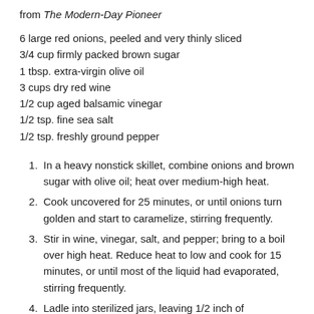from The Modern-Day Pioneer
6 large red onions, peeled and very thinly sliced
3/4 cup firmly packed brown sugar
1 tbsp. extra-virgin olive oil
3 cups dry red wine
1/2 cup aged balsamic vinegar
1/2 tsp. fine sea salt
1/2 tsp. freshly ground pepper
1. In a heavy nonstick skillet, combine onions and brown sugar with olive oil; heat over medium-high heat.
2. Cook uncovered for 25 minutes, or until onions turn golden and start to caramelize, stirring frequently.
3. Stir in wine, vinegar, salt, and pepper; bring to a boil over high heat. Reduce heat to low and cook for 15 minutes, or until most of the liquid had evaporated, stirring frequently.
4. Ladle into sterilized jars, leaving 1/2 inch of headspace. Remove air bubbles. Wipe rims. Cap and seal, then process in a water bath canner for ten